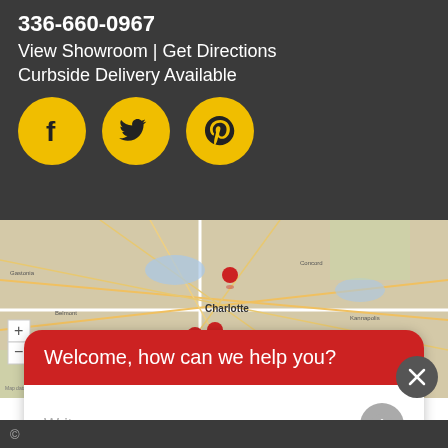336-660-0967
View Showroom | Get Directions
Curbside Delivery Available
[Figure (infographic): Three social media icon circles in gold/yellow: Facebook (f), Twitter (bird), Pinterest (P)]
[Figure (map): Google Maps screenshot showing Charlotte NC area with red location pins]
Welcome, how can we help you?
Write your message...
©